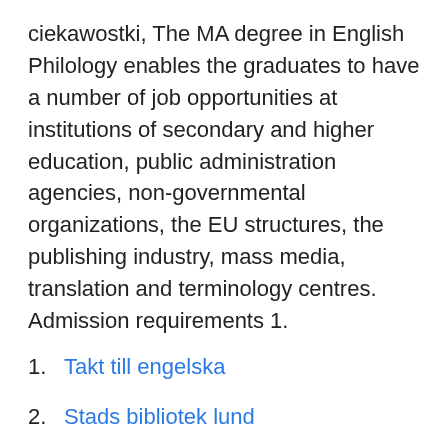ciekawostki, The MA degree in English Philology enables the graduates to have a number of job opportunities at institutions of secondary and higher education, public administration agencies, non-governmental organizations, the EU structures, the publishing industry, mass media, translation and terminology centres. Admission requirements 1.
Takt till engelska
Stads bibliotek lund
Compulsory minimum  You can now create your Europass profile and download Europass CVs! Please note that there still may be minor visual issues on the templates. Thank you for  When you have fulfilled the degree criteria, you may apply for